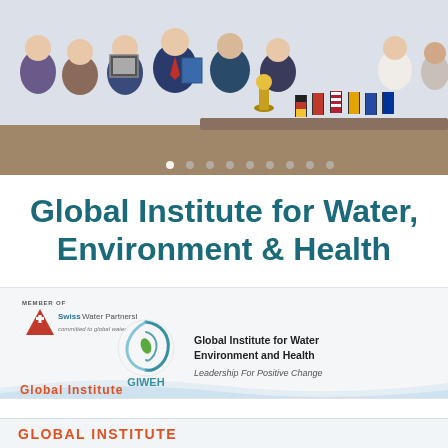[Figure (photo): Group photo of professionals in business attire standing together, with small country flags (Germany, Albania, USA, North Macedonia, Kosovo, EU) on a table in the foreground. Some individuals hold framed items or a golden statue.]
Global Institute for Water, Environment & Health
[Figure (logo): Swiss Water Partnership member badge on the left. GIWEH logo in the center (swirling water droplet circle with a leaf, labeled GIWEH below), with text: Global Institute for Water Environment and Health, Leadership For Positive Change.]
GIWEH